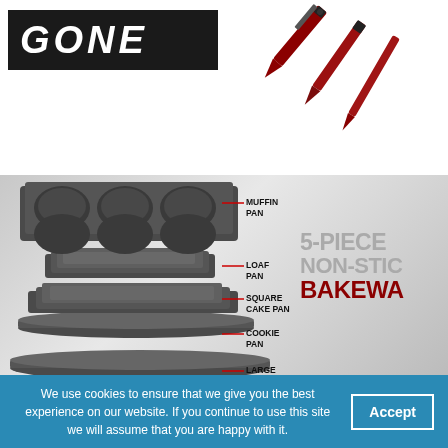[Figure (illustration): Top portion of a promotional page showing 'GONE' in white bold italic text on a black banner, with red kitchen tools/scissors in the top right corner]
[Figure (infographic): 5-piece non-stick bakeware set shown as stacked pans with labeled callouts: Muffin Pan, Loaf Pan, Square Cake Pan, Cookie Pan, Large Cake Pan. Text reads '5-PIECE NON-STICK BAKEWARE' in gray and dark red.]
We use cookies to ensure that we give you the best experience on our website. If you continue to use this site we will assume that you are happy with it.